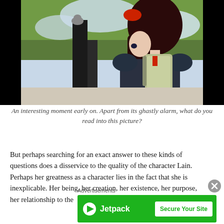[Figure (illustration): Anime screenshot showing a dark-haired female character with a red hair clip viewed from the side/back, wearing a school uniform with a backpack, with trees and sky in the background. Black bars on left and right side of image.]
An interesting moment early on. Apart from its ghastly alarm, what do you read into this picture?
But perhaps searching for an exact answer to these kinds of questions does a disservice to the quality of the character Lain. Perhaps her greatness as a character lies in the fact that she is inexplicable. Her being, her creation, her existence, her purpose, her relationship to the